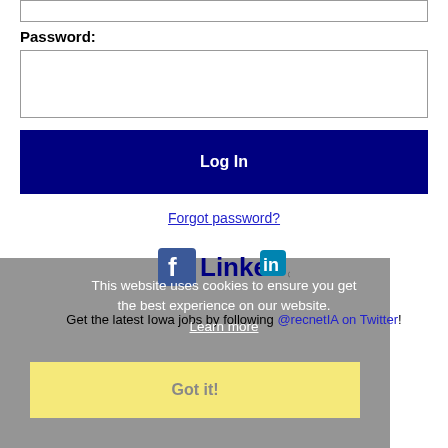Password:
[Figure (screenshot): Password input field (empty text box)]
Log In
Forgot password?
[Figure (logo): Facebook and LinkedIn social media icons]
This website uses cookies to ensure you get the best experience on our website. Learn more
Get the latest Iowa jobs by following @recnetIA on Twitter!
Ames RSS job feeds
Got it!